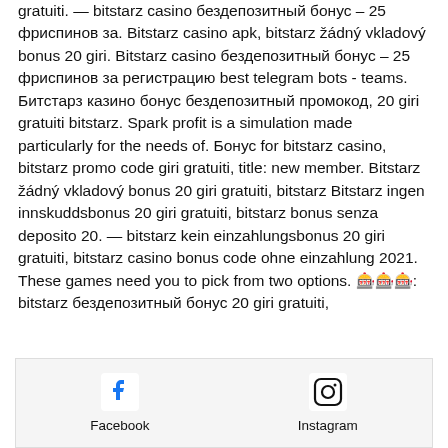gratuiti. — bitstarz casino бездепозитный бонус – 25 фриспинов за. Bitstarz casino apk, bitstarz žádný vkladový bonus 20 giri. Bitstarz casino бездепозитный бонус – 25 фриспинов за регистрацию best telegram bots - teams. Битстарз казино бонус бездепозитный промокод, 20 giri gratuiti bitstarz. Spark profit is a simulation made particularly for the needs of. Бонус for bitstarz casino, bitstarz promo code giri gratuiti, title: new member. Bitstarz žádný vkladový bonus 20 giri gratuiti, bitstarz Bitstarz ingen innskuddsbonus 20 giri gratuiti, bitstarz bonus senza deposito 20. — bitstarz kein einzahlungsbonus 20 giri gratuiti, bitstarz casino bonus code ohne einzahlung 2021. These games need you to pick from two options. 🎰🎰🎰: bitstarz бездепозитный бонус 20 giri gratuiti,
Facebook  Instagram